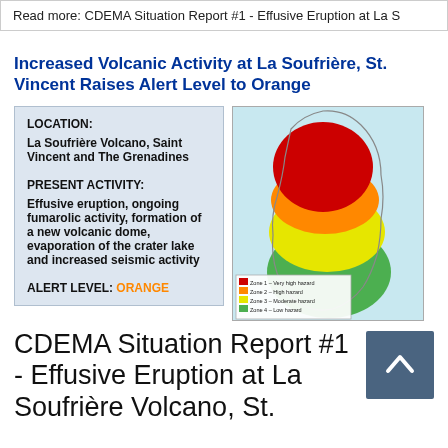Read more: CDEMA Situation Report #1 - Effusive Eruption at La S
Increased Volcanic Activity at La Soufrière, St. Vincent Raises Alert Level to Orange
LOCATION:
La Soufrière Volcano, Saint Vincent and The Grenadines

PRESENT ACTIVITY:
Effusive eruption, ongoing fumarolic activity, formation of a new volcanic dome, evaporation of the crater lake and increased seismic activity

ALERT LEVEL: ORANGE
[Figure (map): Map of Saint Vincent showing volcanic hazard zones in concentric color bands: red (Zone 1 - Very high hazard), orange (Zone 2 - High hazard), yellow (Zone 3 - Moderate hazard), green (Zone 4 - Low hazard). Legend included at bottom.]
CDEMA Situation Report #1 - Effusive Eruption at La Soufrière Volcano, St.